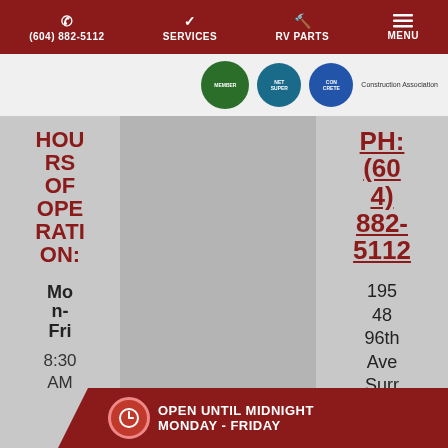(604) 882-5112   SERVICES   RV PARTS   MENU
[Figure (logo): Association logos including member badges and Construction Association text]
HOURS OF OPERATION:
Mon-Fri
8:30 AM – 12:00A
[Figure (photo): Gray/blank center image area]
PH: (604) 882-5112
19548 96th Ave Surrey, BC
OPEN UNTIL MIDNIGHT MONDAY - FRIDAY